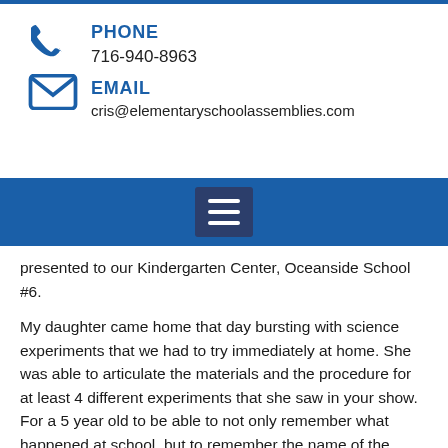PHONE
716-940-8963
EMAIL
cris@elementaryschoolassemblies.com
[Figure (other): Navigation bar with hamburger menu icon on blue background]
presented to our Kindergarten Center, Oceanside School #6.
My daughter came home that day bursting with science experiments that we had to try immediately at home. She was able to articulate the materials and the procedure for at least 4 different experiments that she saw in your show.  For a 5 year old to be able to not only remember what happened at school, but to remember the name of the show, experiments she saw, the procedures AND the materials that go along with it, goes to show what an impact you made on these little minds.
Thank you so much for putting on such a wonderful, informative, entertaining, and age appropriate show for our children."